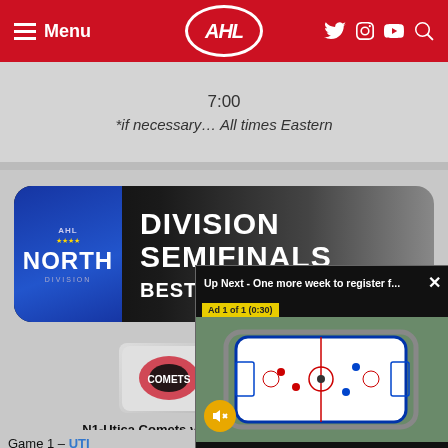AHL - Menu
7:00
*if necessary… All times Eastern
[Figure (illustration): AHL North Division Semifinals banner - black background with North Division shield logo on left and text 'DIVISION SEMIFINALS BEST-OF-5' on right in white bold lettering]
[Figure (illustration): Two team logos side by side: Utica Comets (left) and Rochester Americans (right)]
N1-Utica Comets vs. N4-Rochester Americans
Game 4 – Today, 5:05
(Rochester leads series 2-1)
Game 1 – UTI...
Game 2 – Roche...
Game 3 – ROCH...
[Figure (screenshot): Video overlay popup: 'Up Next - One more week to register f...' with Ad 1 of 1 (0:30) label, mute button, and aerial view of outdoor hockey rink with players]